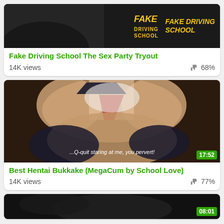[Figure (screenshot): Video thumbnail for Fake Driving School with dark background and yellow logo text]
Fake Driving School The Sex Party Tryout
14K views   68%
[Figure (screenshot): Hentai anime video thumbnail with subtitle text '...Q-quit staring at me, you pervert!' and duration badge 17:52]
Best Hentai Bukkake (MegaCum by School Love)
14K views   77%
[Figure (screenshot): Partial video thumbnail with duration badge 08:01]